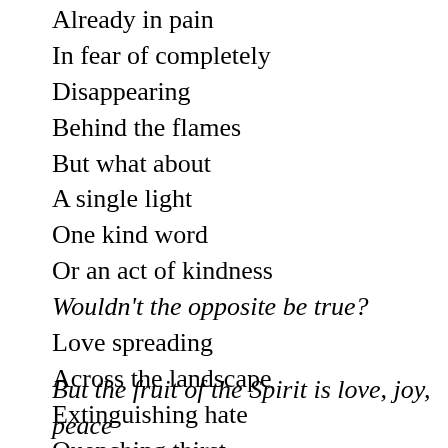Already in pain
In fear of completely
Disappearing
Behind the flames
But what about
A single light
One kind word
Or an act of kindness
Wouldn't the opposite be true?
Love spreading
Across the landscape
Extinguishing hate
Quenching thirst
Easing the pain

But the fruit of the Spirit is love, joy, peace
But the fruit of the Spirit is love, joy, peace